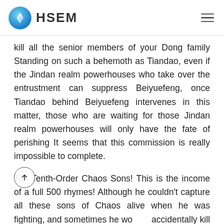HSEM
kill all the senior members of your Dong family Standing on such a behemoth as Tiandao, even if the Jindan realm powerhouses who take over the entrustment can suppress Beiyuefeng, once Tiandao behind Beiyuefeng intervenes in this matter, those who are waiting for those Jindan realm powerhouses will only have the fate of perishing It seems that this commission is really impossible to complete.
Ten Tenth-Order Chaos Sons! This is the income of a full 500 rhymes! Although he couldn't capture all these sons of Chaos alive when he was fighting, and sometimes he wo accidentally kill him if he couldn't control his strength, but even half of them would be equivalent to 250 Dao Yun's benefits